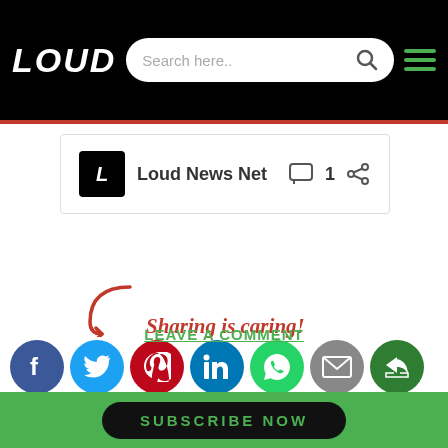LOUD — Search here.. [hamburger menu]
[Figure (logo): Loud News Net logo with italic L graphic, name, comment icon showing 1, and share icon]
[Figure (infographic): Sharing is caring! text with arrow and social media icons: Facebook, Twitter, Pinterest, LinkedIn, WhatsApp, Email, Share]
LEAVE A COMMENT
SUBSCRIBE NOW